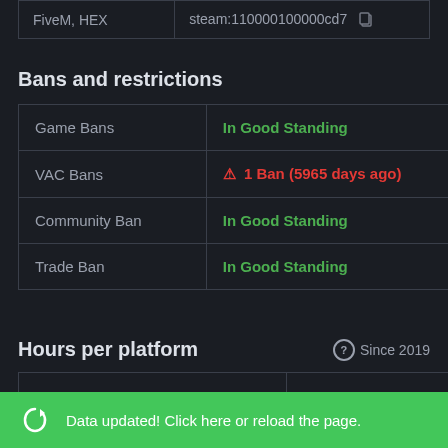| FiveM, HEX | steam:110000100000cd7 |
Bans and restrictions
| Game Bans | In Good Standing |
| VAC Bans | ⚠ 1 Ban (5965 days ago) |
| Community Ban | In Good Standing |
| Trade Ban | In Good Standing |
Hours per platform
Since 2019
| Total | 0h 0m |
| Windows | 0h 0m |
Data updated! Click here or reload the page.